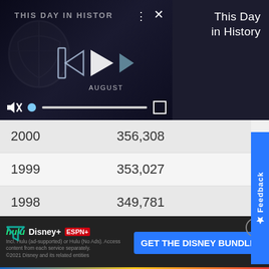[Figure (screenshot): Video player showing 'This Day in History' with NFL-themed content, paused with playback controls visible. Dark background with video controls at bottom (mute, progress bar, fullscreen). Three-dot menu and X close button visible. 'AUGUST' label visible.]
This Day in History
| Year | Value |
| --- | --- |
| 2000 | 356,308 |
| 1999 | 353,027 |
| 1998 | 349,781 |
| 1997 | 346,564 |
| 1996 | 343,382 |
| 1995 | 338,901 |
[Figure (screenshot): Disney Bundle advertisement banner with Hulu, Disney+, and ESPN+ logos and 'GET THE DISNEY BUNDLE' call to action. Fine print: 'Incl. Hulu (ad-supported) or Hulu (No Ads). Access content from each service separately. ©2021 Disney and its related entities']